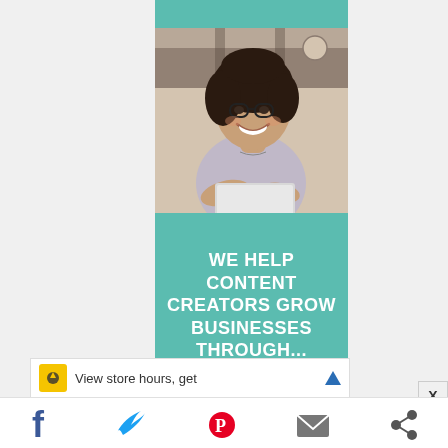[Figure (photo): Teal banner ad showing a smiling woman with glasses working on a laptop in a cafe setting. Top teal stripe, photo of woman, then teal section with bold white text.]
WE HELP CONTENT CREATORS GROW BUSINESSES THROUGH...
View store hours, get
[Figure (infographic): Row of social media sharing icons: Facebook, Twitter, Pinterest, Email, and another icon]